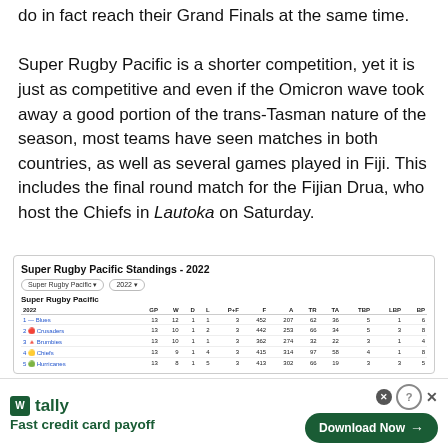do in fact reach their Grand Finals at the same time. Super Rugby Pacific is a shorter competition, yet it is just as competitive and even if the Omicron wave took away a good portion of the trans-Tasman nature of the season, most teams have seen matches in both countries, as well as several games played in Fiji. This includes the final round match for the Fijian Drua, who host the Chiefs in Lautoka on Saturday.
| 2022 | GP | W | D | L | P+F | F | A | TR | TA | TBP | LBP | BP |
| --- | --- | --- | --- | --- | --- | --- | --- | --- | --- | --- | --- | --- |
| 1 — Blues | 13 | 12 | 1 | 1 | 3 | 452 | 207 | 62 | 36 | 5 | 1 | 6 |
| 2  Crusaders | 13 | 10 | 1 | 2 | 3 | 442 | 253 | 66 | 34 | 5 | 3 | 8 |
| 3  Brumbies | 13 | 10 | 1 | 1 | 3 | 362 | 274 | 32 | 22 | 3 | 1 | 4 |
| 4  Chiefs | 13 | 9 | 1 | 4 | 3 | 415 | 314 | 97 | 58 | 4 | 1 | 8 |
| 5  Hurricanes | 13 | 8 | 1 | 5 | 3 | 413 | 302 | 66 | 19 | 3 | 3 | 5 |
[Figure (screenshot): Tally app advertisement banner — Fast credit card payoff with Download Now button]